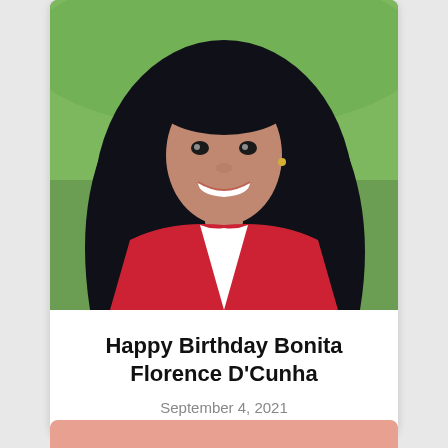[Figure (photo): Photograph of a young woman with long dark hair, smiling, wearing a red and white outfit, outdoors with green background]
Happy Birthday Bonita Florence D'Cunha
September 4, 2021